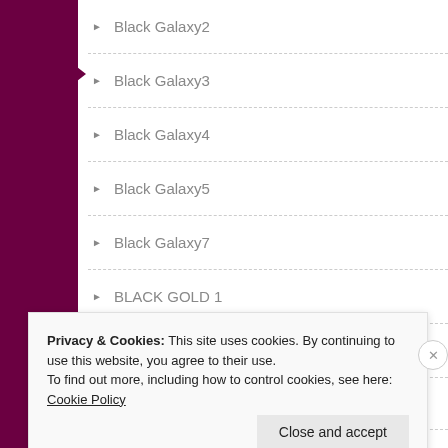Black Galaxy2
Black Galaxy3
Black Galaxy4
Black Galaxy5
Black Galaxy7
BLACK GOLD 1
black indian marble
BLACK INDIAN MARBLE 1
BLACK INDIAN MARBLE 2
BLACK INDIAN MARBLE1
BLACK INDIAN MARBLE2
Privacy & Cookies: This site uses cookies. By continuing to use this website, you agree to their use.
To find out more, including how to control cookies, see here: Cookie Policy
Close and accept